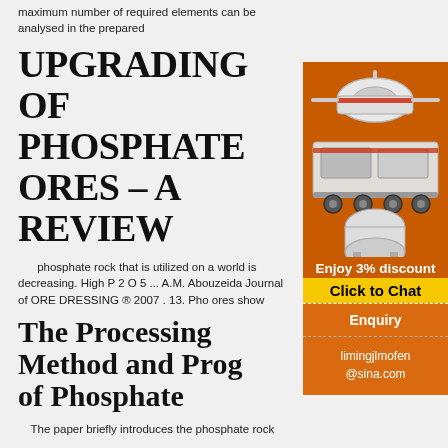maximum number of required elements can be analysed in the prepared
UPGRADING OF PHOSPHATE ORES – A REVIEW
phosphate rock that is utilized on a world is decreasing. High P 2 O 5 ... A.M. Abouzeida Journal of ORE DRESSING ® 2007 . 13. Pho ores show
The Processing Method and Prog of Phosphate
[Figure (photo): Industrial mining/crushing equipment on orange background advertisement panel showing machines, with 'Enjoy 3% discount' and 'Click to Chat' call-to-action buttons, Enquiry section, and contact limingjlmofen@sina.com]
The paper briefly introduces the phosphate rock